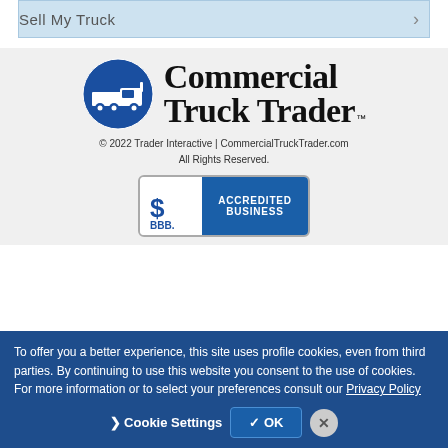Sell My Truck
[Figure (logo): Commercial Truck Trader logo with blue circle containing white truck silhouette and bold serif text 'Commercial Truck Trader']
© 2022 Trader Interactive | CommercialTruckTrader.com All Rights Reserved.
[Figure (logo): BBB Accredited Business badge with blue background and white text]
To offer you a better experience, this site uses profile cookies, even from third parties. By continuing to use this website you consent to the use of cookies. For more information or to select your preferences consult our Privacy Policy